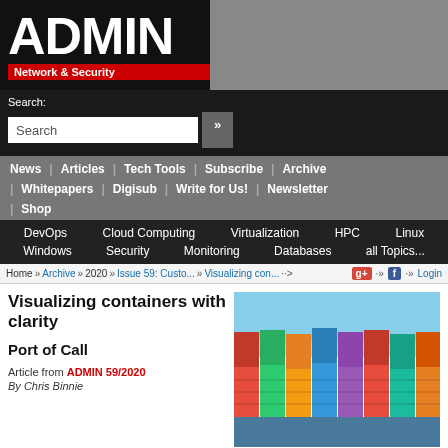[Figure (logo): ADMIN Network & Security magazine logo with white text on black background and red subtitle bar]
Search:
Search input field with search button
News | Articles | Tech Tools | Subscribe | Archive | Whitepapers | Digisub | Write for Us! | Newsletter | Shop
DevOps  Cloud Computing  Virtualization  HPC  Linux  Windows  Security  Monitoring  Databases  all Topics...
Home » Archive » 2020 » Issue 59: Custo... » Visualizing con... » Login
Visualizing containers with clarity
Port of Call
Article from ADMIN 59/2020
By Chris Binnie
[Figure (photo): Photo of stacked shipping containers at a port with blue sky background]